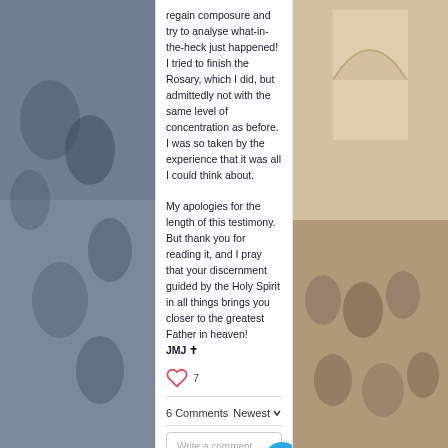[Figure (photo): Left side: photo of people/crowd in dark tones. Right side: photo of ornate room with people and church-like decor.]
regain composure and try to analyse what-in-the-heck just happened!  I tried to finish the Rosary, which I did, but admittedly not with the same level of concentration as before. I was so taken by the experience that it was all I could think about.
My apologies for the length of this testimony.  But thank you for reading it, and I pray that your discernment guided by the Holy Spirit in all things brings you closer to the greatest Father in heaven!
JMJ ✝
7
6 Comments
Newest
Write a comment...